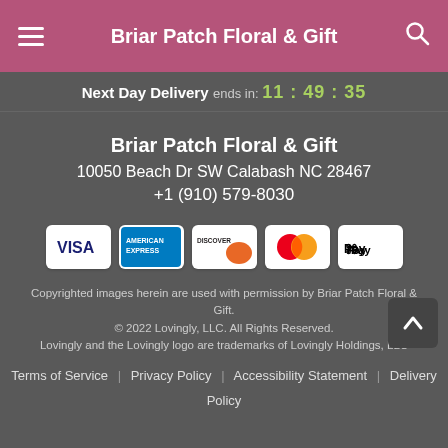Briar Patch Floral & Gift
Next Day Delivery ends in: 11:49:35
Briar Patch Floral & Gift
10050 Beach Dr SW Calabash NC 28467
+1 (910) 579-8030
[Figure (other): Payment method icons: VISA, American Express, Discover, Mastercard, Apple Pay]
Copyrighted images herein are used with permission by Briar Patch Floral & Gift.
© 2022 Lovingly, LLC. All Rights Reserved.
Lovingly and the Lovingly logo are trademarks of Lovingly Holdings, LLC
Terms of Service | Privacy Policy | Accessibility Statement | Delivery Policy